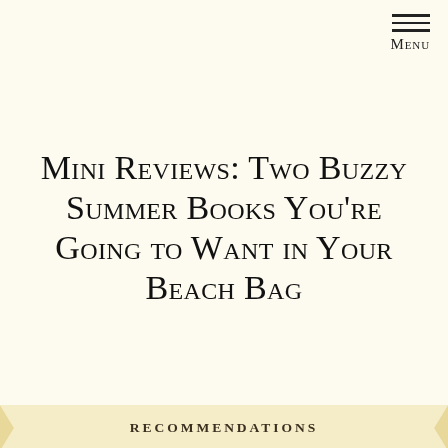Menu
Mini Reviews: Two Buzzy Summer Books You're Going to Want in Your Beach Bag
RECOMMENDATIONS
April 8, 2021
I'm trying not to get ahead of myself, but the temperatures in